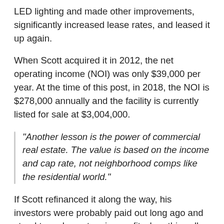LED lighting and made other improvements, significantly increased lease rates, and leased it up again.
When Scott acquired it in 2012, the net operating income (NOI) was only $39,000 per year. At the time of this post, in 2018, the NOI is $278,000 annually and the facility is currently listed for sale at $3,004,000.
“Another lesson is the power of commercial real estate. The value is based on the income and cap rate, not neighborhood comps like the residential world.”
If Scott refinanced it along the way, his investors were probably paid out long ago and stand to make a stunning profit when this sells. (Most syndicators leave